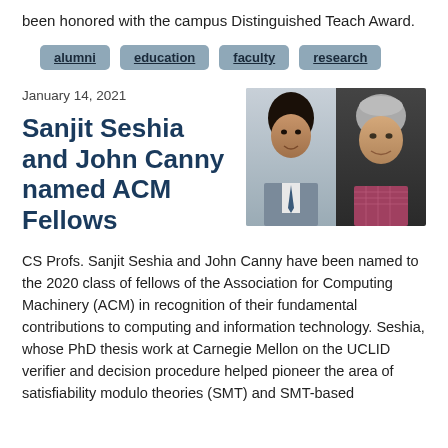been honored with the campus Distinguished Teach Award.
alumni
education
faculty
research
January 14, 2021
Sanjit Seshia and John Canny named ACM Fellows
[Figure (photo): Side-by-side headshots of Sanjit Seshia (left, in suit with tie) and John Canny (right, with grey hair and checkered shirt)]
CS Profs. Sanjit Seshia and John Canny have been named to the 2020 class of fellows of the Association for Computing Machinery (ACM) in recognition of their fundamental contributions to computing and information technology. Seshia, whose PhD thesis work at Carnegie Mellon on the UCLID verifier and decision procedure helped pioneer the area of satisfiability modulo theories (SMT) and SMT-based